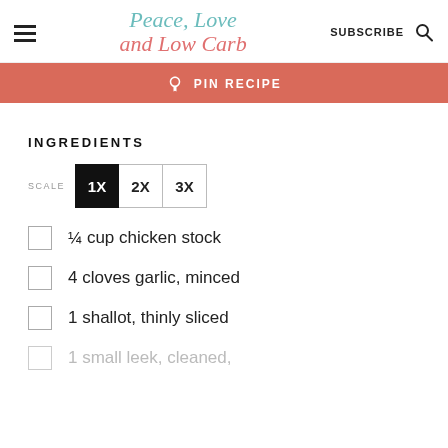Peace, Love and Low Carb — SUBSCRIBE
[Figure (screenshot): PIN RECIPE button banner in coral/red color]
INGREDIENTS
SCALE 1X 2X 3X
¼ cup chicken stock
4 cloves garlic, minced
1 shallot, thinly sliced
1 small leek, cleaned,